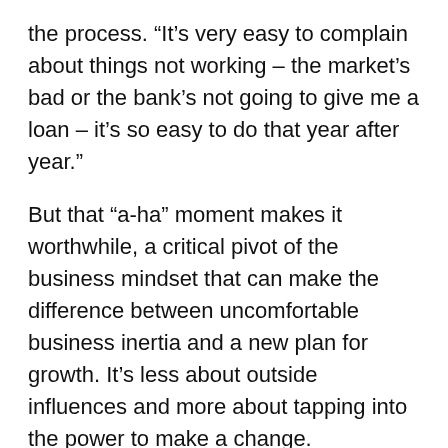the process. “It’s very easy to complain about things not working – the market’s bad or the bank’s not going to give me a loan – it’s so easy to do that year after year.”
But that “a-ha” moment makes it worthwhile, a critical pivot of the business mindset that can make the difference between uncomfortable business inertia and a new plan for growth. It’s less about outside influences and more about tapping into the power to make a change.
“Once you look at things you’re not doing and acknowledge it’s in your court,” said Dutta. “Then you say, “˜What am I going to do about it?’”